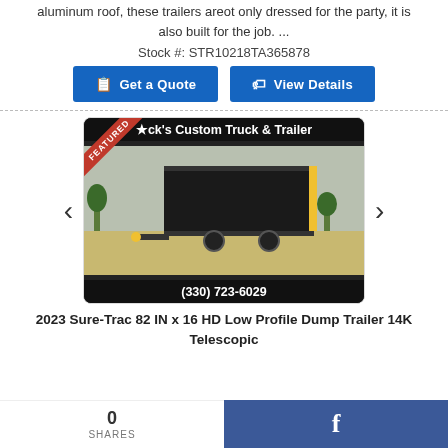aluminum roof, these trailers areot only dressed for the party, it is also built for the job. ...
Stock #: STR10218TA365878
[Figure (screenshot): Two blue buttons: 'Get a Quote' and 'View Details']
[Figure (photo): Featured product image from Buck's Custom Truck & Trailer showing a 2023 Sure-Trac dump trailer, with phone number (330) 723-6029]
2023 Sure-Trac 82 IN x 16 HD Low Profile Dump Trailer 14K Telescopic
0 SHARES
[Figure (logo): Facebook share button (blue background with white 'f' logo)]